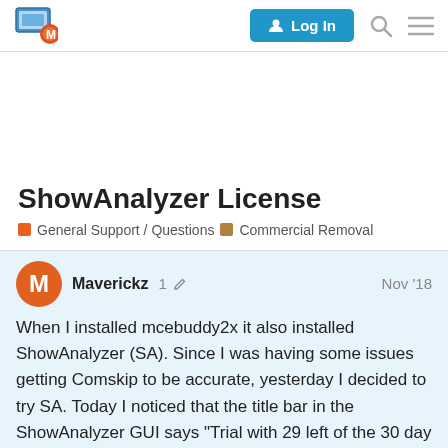MCEBuddy forum header with logo and Log In button
ShowAnalyzer License
General Support / Questions  Commercial Removal
Maverickz  1  Nov '18
When I installed mcebuddy2x it also installed ShowAnalyzer (SA). Since I was having some issues getting Comskip to be accurate, yesterday I decided to try SA. Today I noticed that the title bar in the ShowAnalyzer GUI says "Trial with 29 left of the 30 day trial period". So I went to see what it would take to register SA and discovered that the web si[te is] down, apparently for YEARS. So there is n[o way to]